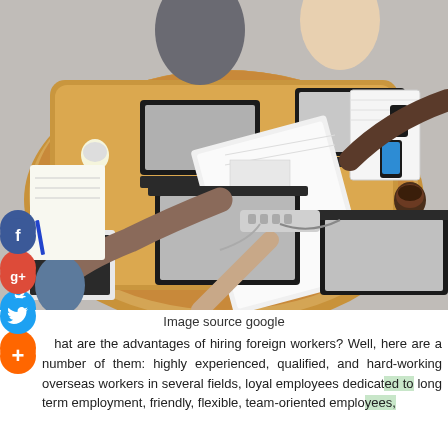[Figure (photo): Overhead aerial view of people working around a large wooden table with laptops, smartphones, notebooks, coffee cups, and papers. Multiple people's hands and arms are visible. Social media icons (Facebook, Google+, Twitter, and a plus/add icon) are overlaid on the left edge of the image.]
Image source google
hat are the advantages of hiring foreign workers? Well, here are a number of them: highly experienced, qualified, and hard-working overseas workers in several fields, loyal employees dedicated to long term employment, friendly, flexible, team-oriented employees,